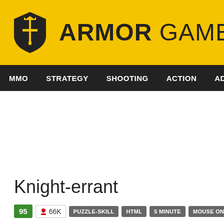ARMOR GAMES
MMO  STRATEGY  SHOOTING  ACTION  ADVENTURE  P
Knight-errant
95  66K  PUZZLE-SKILL  HTML  5 MINUTE  MOUSE ONLY  PUZZLE